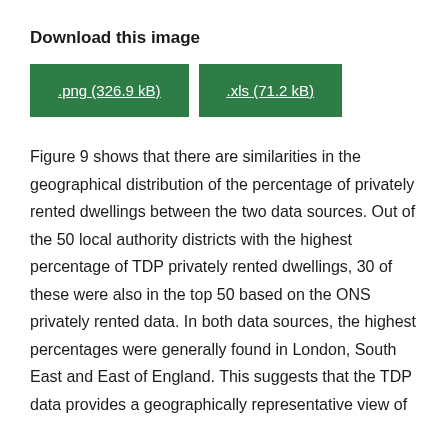Download this image
[Figure (other): Two download buttons: .png (326.9 kB) and .xls (71.2 kB) in green]
Figure 9 shows that there are similarities in the geographical distribution of the percentage of privately rented dwellings between the two data sources. Out of the 50 local authority districts with the highest percentage of TDP privately rented dwellings, 30 of these were also in the top 50 based on the ONS privately rented data. In both data sources, the highest percentages were generally found in London, South East and East of England. This suggests that the TDP data provides a geographically representative view of